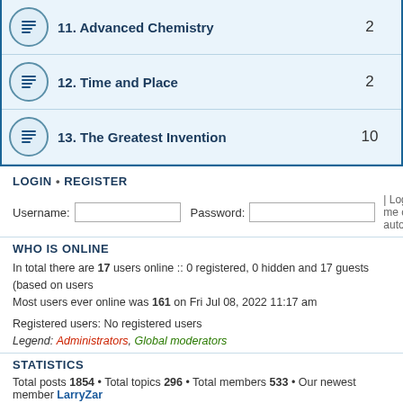| Forum | Posts |
| --- | --- |
| 11. Advanced Chemistry | 2 |
| 12. Time and Place | 2 |
| 13. The Greatest Invention | 10 |
LOGIN • REGISTER
Username: [input] Password: [input] | Log me on autom
WHO IS ONLINE
In total there are 17 users online :: 0 registered, 0 hidden and 17 guests (based on users
Most users ever online was 161 on Fri Jul 08, 2022 11:17 am
Registered users: No registered users
Legend: Administrators, Global moderators
STATISTICS
Total posts 1854 • Total topics 296 • Total members 533 • Our newest member LarryZar
Board index   The team •
Powered by phpBB® Forum Software © phpBB Gr